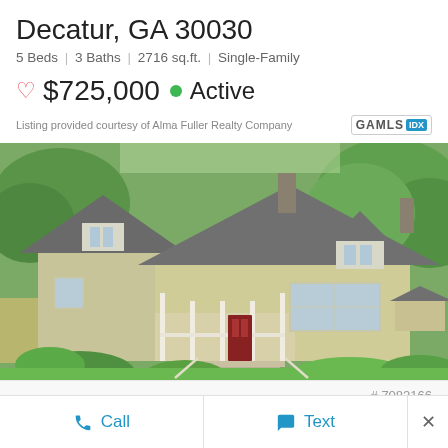Decatur, GA 30030
5 Beds | 3 Baths | 2716 sq.ft. | Single-Family
♡ $725,000 ● Active
Listing provided courtesy of Alma Fuller Realty Company
[Figure (photo): Exterior photo of a two-story craftsman-style house with gray roof, white trim dormers, covered front porch with railings, brick exterior, surrounded by green trees and shrubs in Decatur, GA]
# 7082166
Call
Text